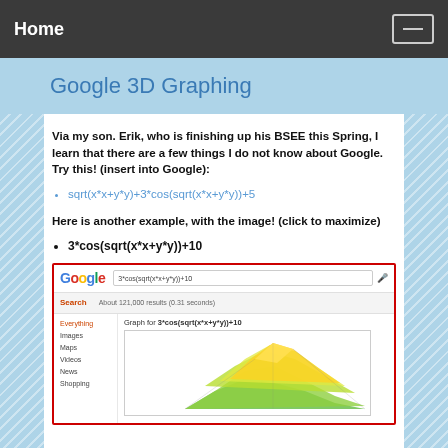Home
Google 3D Graphing
Via my son. Erik, who is finishing up his BSEE this Spring, I learn that there are a few things I do not know about Google. Try this! (insert into Google):
sqrt(x*x+y*y)+3*cos(sqrt(x*x+y*y))+5
Here is another example, with the image! (click to maximize)
3*cos(sqrt(x*x+y*y))+10
[Figure (screenshot): Screenshot of Google search results showing 3D graph for 3*cos(sqrt(x*x+y*y))+10]